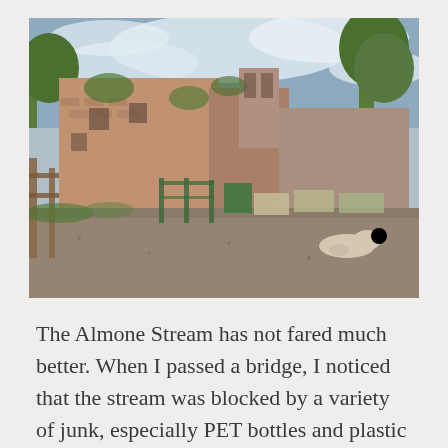[Figure (photo): A wide-angle photo of ancient ruined brick buildings along a gravel path. A wooden fence is on the left, green trees on the right, and a dog is lying on the gravel in the lower right. The sky is cloudy and blue.]
The Almone Stream has not fared much better. When I passed a bridge, I noticed that the stream was blocked by a variety of junk, especially PET bottles and plastic containers. PET bottles appear to be one of our world's great curses. People have increasingly